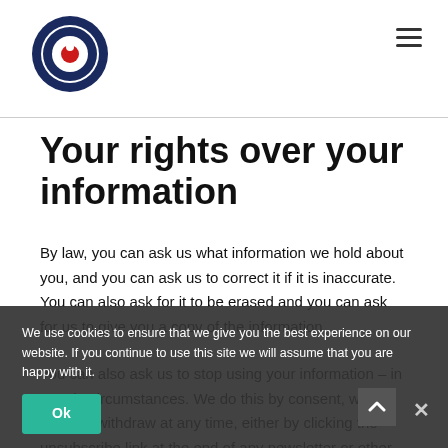[Figure (logo): Circular logo with concentric dark blue and red rings on white background]
Your rights over your information
By law, you can ask us what information we hold about you, and you can ask us to correct it if it is inaccurate. You can also ask for it to be erased and you can ask for us to give you a copy of the information.
You can also ask us to stop using your information – in certain circumstances. We do this by consent, which you can withdraw at any time, either by clicking the unsubscribe link at the end of any newsletter or other communication, or by emailing,
We use cookies to ensure that we give you the best experience on our website. If you continue to use this site we will assume that you are happy with it.